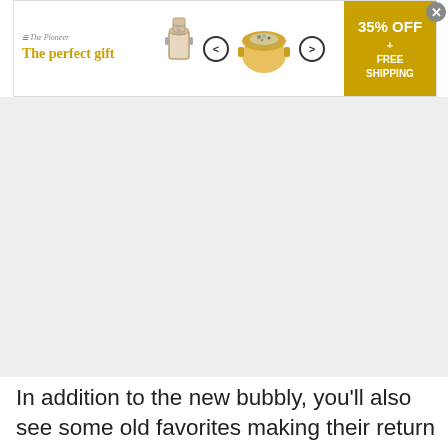[Figure (screenshot): Advertisement banner for 'The Pioneer Woman' cookware: 'The perfect gift' with cookware images, navigation arrows, food in a pot, and a gold call-to-action box showing '35% OFF + FREE SHIPPING'.]
[Figure (photo): Large gray rectangular area representing a photo or embedded content area.]
In addition to the new bubbly, you'll also see some old favorites making their return to the winery this summer.